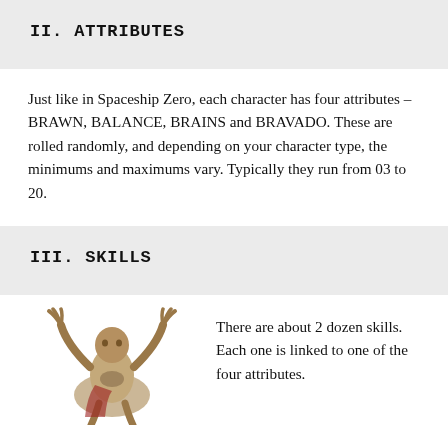II.  ATTRIBUTES
Just like in Spaceship Zero, each character has four attributes – BRAWN, BALANCE, BRAINS and BRAVADO.  These are rolled randomly, and depending on your character type, the minimums and maximums vary.  Typically they run from 03 to 20.
III.  SKILLS
[Figure (photo): A painted miniature figure of a crouching armored creature with raised clawed hands, shown in color against a white background.]
There are about 2 dozen skills. Each one is linked to one of the four attributes.